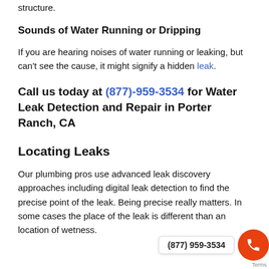structure.
Sounds of Water Running or Dripping
If you are hearing noises of water running or leaking, but can't see the cause, it might signify a hidden leak.
Call us today at (877)-959-3534 for Water Leak Detection and Repair in Porter Ranch, CA
Locating Leaks
Our plumbing pros use advanced leak discovery approaches including digital leak detection to find the precise point of the leak. Being precise really matters. In some cases the place of the leak is different than an location of wetness.